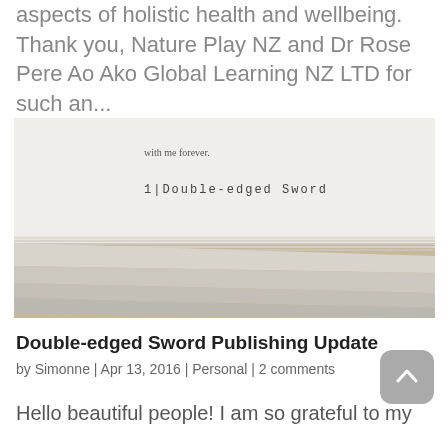aspects of holistic health and wellbeing. Thank you, Nature Play NZ and Dr Rose Pere Ao Ako Global Learning NZ LTD for such an...
[Figure (photo): Photo of a book open to a page showing the text 'with me forever.' and '1|Double-edged Sword', resting on a wooden surface, showing the book's spine and stacked pages.]
Double-edged Sword Publishing Update
by Simonne | Apr 13, 2016 | Personal | 2 comments
Hello beautiful people! I am so grateful to my